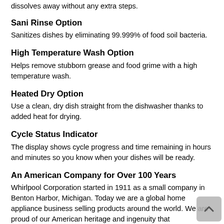dissolves away without any extra steps.
Sani Rinse Option
Sanitizes dishes by eliminating 99.999% of food soil bacteria.
High Temperature Wash Option
Helps remove stubborn grease and food grime with a high temperature wash.
Heated Dry Option
Use a clean, dry dish straight from the dishwasher thanks to added heat for drying.
Cycle Status Indicator
The display shows cycle progress and time remaining in hours and minutes so you know when your dishes will be ready.
An American Company for Over 100 Years
Whirlpool Corporation started in 1911 as a small company in Benton Harbor, Michigan. Today we are a global home appliance business selling products around the world. We are proud of our American heritage and ingenuity that